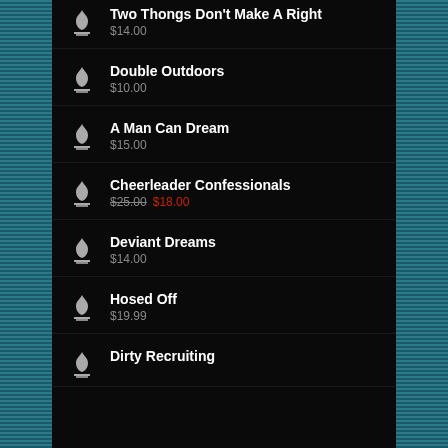Two Thongs Don't Make A Right
$14.00
Double Outdoors
$10.00
A Man Can Dream
$15.00
Cheerleader Confessionals
$25.00 $18.00
Deviant Dreams
$14.00
Hosed Off
$19.99
Dirty Recruiting